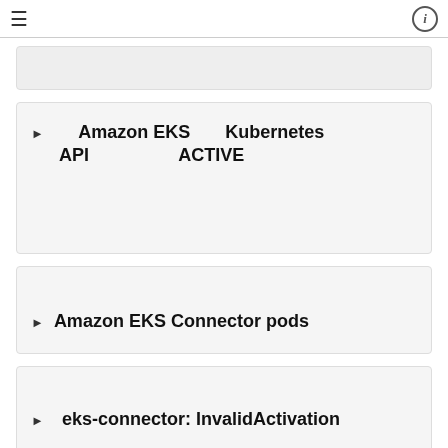≡  ⓘ
▶ Amazon EKS Kubernetes API ACTIVE
▶ Amazon EKS Connector pods
▶ eks-connector: InvalidActivation
▶ Worker